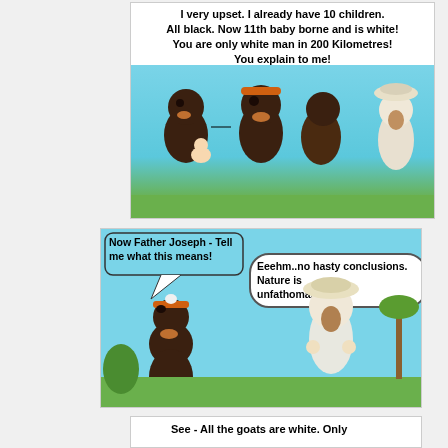[Figure (illustration): Comic strip panel 1: Speech bubble text reads 'I very upset. I already have 10 children. All black. Now 11th baby borne and is white! You are only white man in 200 Kilometres! You explain to me!' Cartoon illustration below showing caricatured African figures and a white bearded man in colonial attire.]
[Figure (illustration): Comic strip panel 2: Two speech bubbles. Left bubble: 'Now Father Joseph - Tell me what this means!' Right bubble: 'Eeehm..no hasty conclusions. Nature is unfathomable!' Cartoon illustration showing caricatured African figure confronting a white bearded man in a pith hat.]
[Figure (illustration): Comic strip panel 3 (partial): Speech bubble text reads 'See - All the goats are white. Only'. Partial illustration visible at bottom.]